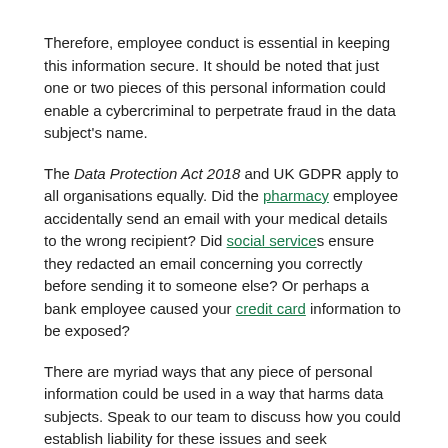Therefore, employee conduct is essential in keeping this information secure. It should be noted that just one or two pieces of this personal information could enable a cybercriminal to perpetrate fraud in the data subject's name.
The Data Protection Act 2018 and UK GDPR apply to all organisations equally. Did the pharmacy employee accidentally send an email with your medical details to the wrong recipient? Did social services ensure they redacted an email concerning you correctly before sending it to someone else? Or perhaps a bank employee caused your credit card information to be exposed?
There are myriad ways that any piece of personal information could be used in a way that harms data subjects. Speak to our team to discuss how you could establish liability for these issues and seek appropriate compensation for the aggravation, distress, or money problems they caused.
Data Protection Breach At Work – How To Prove A Claim?